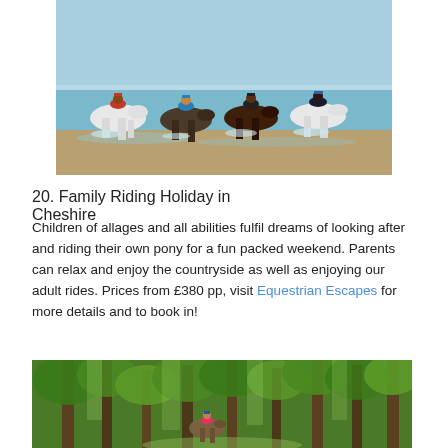[Figure (photo): Four riders on horses galloping through shallow seawater along a beach, with a blue sea and sky in the background.]
20. Family Riding Holiday in Cheshire
Children of allages and all abilities fulfil dreams of looking after and riding their own pony for a fun packed weekend. Parents can relax and enjoy the countryside as well as enjoying our adult rides. Prices from £380 pp, visit Equestrian Escapes for more details and to book in!
[Figure (photo): A horse and rider on a path through a lush green forest with tall trees.]